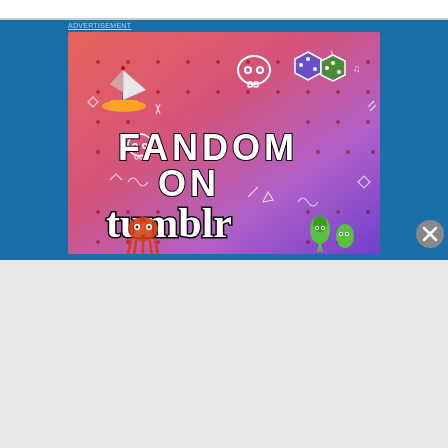[Figure (illustration): Tumblr 'Fandom on Tumblr' advertisement banner with colorful gradient background from orange to purple, featuring doodle stickers (sailboat, skull, dice, squid, leaf characters) and the text 'FANDOM ON tumblr' in large bold letters]
[Figure (illustration): DuckDuckGo advertisement on orange background. Text reads 'Search, browse, and email with more privacy. All in One Free App'. Shows a smartphone with DuckDuckGo logo and 'DuckDuckGo.' wordmark.]
Advertisements